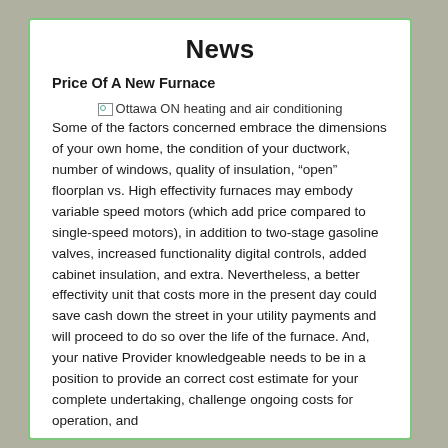News
Price Of A New Furnace
[Figure (photo): Broken image placeholder for Ottawa ON heating and air conditioning]
Some of the factors concerned embrace the dimensions of your own home, the condition of your ductwork, number of windows, quality of insulation, “open” floorplan vs. High effectivity furnaces may embody variable speed motors (which add price compared to single-speed motors), in addition to two-stage gasoline valves, increased functionality digital controls, added cabinet insulation, and extra. Nevertheless, a better effectivity unit that costs more in the present day could save cash down the street in your utility payments and will proceed to do so over the life of the furnace. And, your native Provider knowledgeable needs to be in a position to provide an correct cost estimate for your complete undertaking, challenge ongoing costs for operation, and